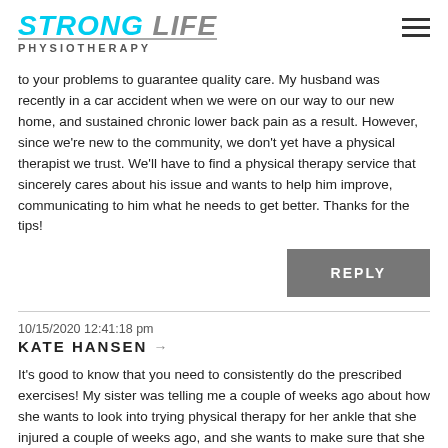[Figure (logo): Strong Life Physiotherapy logo with cyan 'STRONG' and grey 'LIFE' text, italic bold, with 'PHYSIOTHERAPY' subtitle below in uppercase grey letters]
to your problems to guarantee quality care. My husband was recently in a car accident when we were on our way to our new home, and sustained chronic lower back pain as a result. However, since we're new to the community, we don't yet have a physical therapist we trust. We'll have to find a physical therapy service that sincerely cares about his issue and wants to help him improve, communicating to him what he needs to get better. Thanks for the tips!
REPLY
KATE HANSEN → 10/15/2020 12:41:18 pm
It's good to know that you need to consistently do the prescribed exercises! My sister was telling me a couple of weeks ago about how she wants to look into trying physical therapy for her ankle that she injured a couple of weeks ago, and she wants to make sure that she knows how to make it work. I'll make sure to pass these tips along to her once she